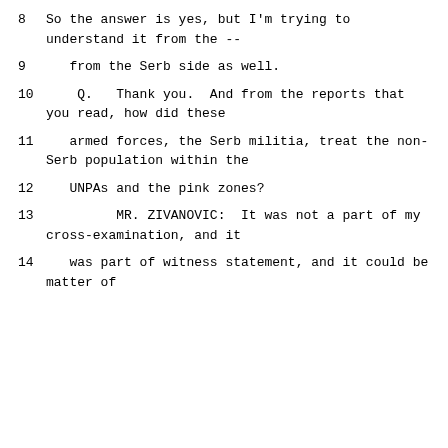8       So the answer is yes, but I'm trying to understand it from the --
9     from the Serb side as well.
10        Q.   Thank you.  And from the reports that you read, how did these
11     armed forces, the Serb militia, treat the non-Serb population within the
12     UNPAs and the pink zones?
13              MR. ZIVANOVIC:  It was not a part of my cross-examination, and it
14     was part of witness statement, and it could be matter of